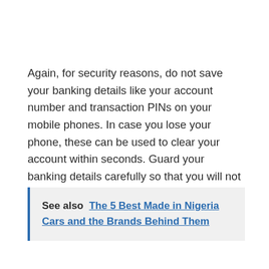Again, for security reasons, do not save your banking details like your account number and transaction PINs on your mobile phones. In case you lose your phone, these can be used to clear your account within seconds. Guard your banking details carefully so that you will not fall prey to these fraudsters.
See also  The 5 Best Made in Nigeria Cars and the Brands Behind Them